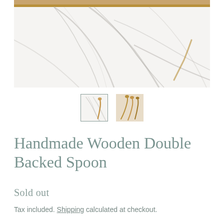[Figure (photo): Close-up photograph of a marble surface with grey veining and a wooden edge visible at the top. A wooden spoon is partially visible.]
[Figure (photo): Thumbnail of main product photo showing wooden spoon on marble surface, with a teal/green border indicating selected state.]
[Figure (photo): Thumbnail showing three small handmade wooden double-backed spoons on a light background.]
Handmade Wooden Double Backed Spoon
Sold out
Tax included. Shipping calculated at checkout.